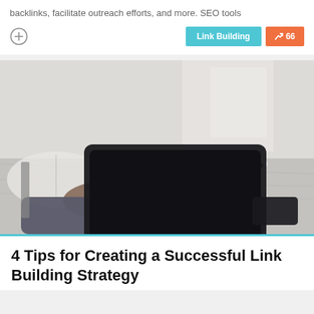backlinks, facilitate outreach efforts, and more. SEO tools
Link Building   ↗ 66
[Figure (photo): Person holding a tablet at a desk with an open book and a cup of coffee in the background]
4 Tips for Creating a Successful Link Building Strategy